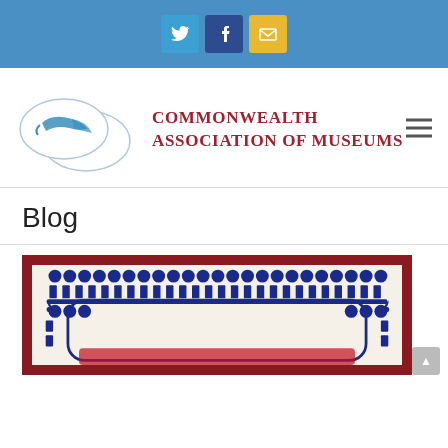[Figure (screenshot): Top navigation bar with Twitter, Facebook, and email social media icons on blue background]
[Figure (logo): Commonwealth Association of Museums logo with decorative oval shapes and red text]
Blog
[Figure (photo): Decorative certificate or document with ornate blue border design on dark red background frame, partially visible]